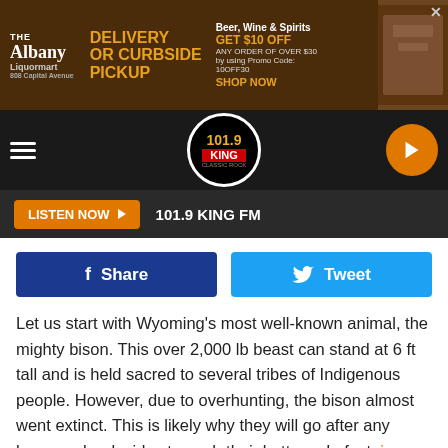[Figure (screenshot): Advertisement banner for The Albany Liquormart featuring delivery or curbside pickup promotion with $10 off any order over $30 using promo code 10OFF30]
[Figure (logo): 101.9 KING FM radio station logo in circular badge, navigation bar with hamburger menu and orange play button]
LISTEN NOW ▶  101.9 KING FM
[Figure (infographic): Facebook Share button (dark blue) and Twitter Tweet button (light blue)]
Let us start with Wyoming's most well-known animal, the mighty bison. This over 2,000 lb beast can stand at 6 ft tall and is held sacred to several tribes of Indigenous people. However, due to overhunting, the bison almost went extinct. This is likely why they will go after any human who decides to push their buttons. In fact, in 2020, one Yellowstone bison decided he had had enough of us and ripped the pants off a woman. So, if you run across these majestic creatures,